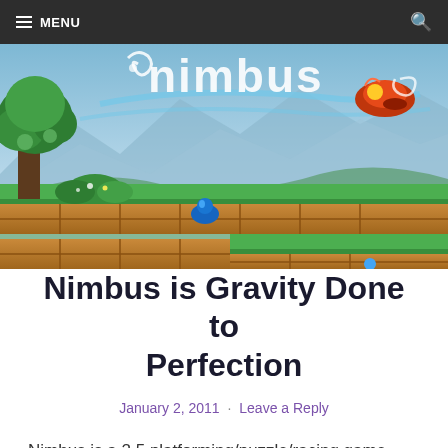≡ MENU
[Figure (screenshot): Nimbus game screenshot showing a colorful 2.5D platformer with grass-covered terrain, stone blocks, a tree on the left, mountains in the background, a blue character, and the Nimbus logo in white stylized text at the top. An orange flying vehicle is visible in the upper right.]
Nimbus is Gravity Done to Perfection
January 2, 2011 · Leave a Reply
Nimbus is a 2.5 platforming/puzzle/racing game. The graphics are very crisp and clean, and have a high